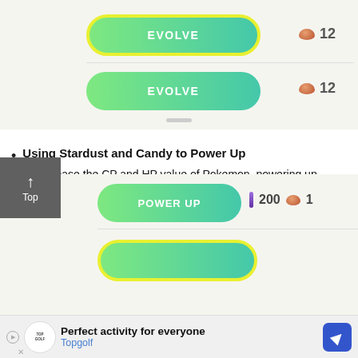[Figure (screenshot): Pokemon GO app screenshot showing EVOLVE button highlighted with yellow border and candy cost of 12]
Using Stardust and Candy to Power Up
To increase the CP and HP value of Pokemon, powering up Pokemon using Stardust and Candy is required. You can get these by capturing Pokemon, hatching Eggs, or transferring Pokemon to Professor Willow. Candy is specific to each Pokemon and its first- and second- evolution Pokemon. To acquire candy for the Pokemon you want to grow, catching same Pokemon as much as you can is essential.
[Figure (screenshot): Pokemon GO app screenshot showing POWER UP button with cost of 200 stardust and 1 candy, and another button highlighted with yellow border]
Perfect activity for everyone
Topgolf